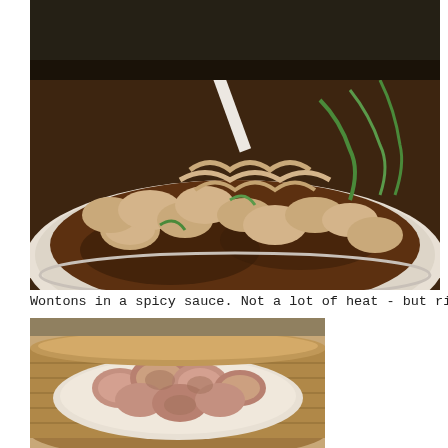[Figure (photo): Close-up photo of wontons in a spicy brown sauce in a white bowl, garnished with green onions, with a white spoon visible.]
Wontons in a spicy sauce. Not a lot of heat - but rich and garlicky.
[Figure (photo): Photo of steamed chicken or pork pieces in a bamboo steamer basket on a white plate.]